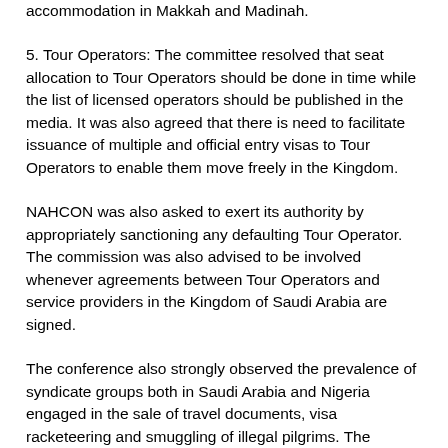accommodation in Makkah and Madinah.
5. Tour Operators: The committee resolved that seat allocation to Tour Operators should be done in time while the list of licensed operators should be published in the media. It was also agreed that there is need to facilitate issuance of multiple and official entry visas to Tour Operators to enable them move freely in the Kingdom.
NAHCON was also asked to exert its authority by appropriately sanctioning any defaulting Tour Operator. The commission was also advised to be involved whenever agreements between Tour Operators and service providers in the Kingdom of Saudi Arabia are signed.
The conference also strongly observed the prevalence of syndicate groups both in Saudi Arabia and Nigeria engaged in the sale of travel documents, visa racketeering and smuggling of illegal pilgrims. The conference therefore emphasised the need to ensure proper screening of Tour Operators' pilgrims, just like their counterparts in the State Pilgrims' Welfare Boards and Agencies. To achieve these set